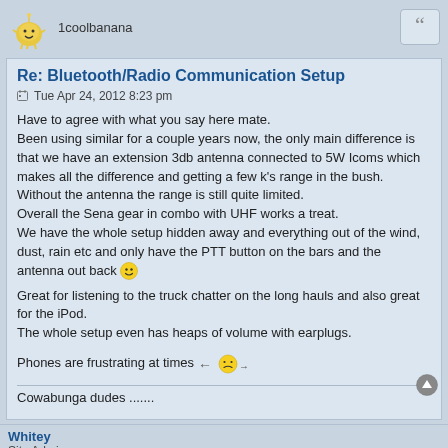1coolbanana
Re: Bluetooth/Radio Communication Setup
Tue Apr 24, 2012 8:23 pm
Have to agree with what you say here mate.
Been using similar for a couple years now, the only main difference is that we have an extension 3db antenna connected to 5W Icoms which makes all the difference and getting a few k's range in the bush.
Without the antenna the range is still quite limited.
Overall the Sena gear in combo with UHF works a treat.
We have the whole setup hidden away and everything out of the wind, dust, rain etc and only have the PTT button on the bars and the antenna out back :)
Great for listening to the truck chatter on the long hauls and also great for the iPod.
The whole setup even has heaps of volume with earplugs.
Phones are frustrating at times
Cowabunga dudes .......
Whitey
Site Admin